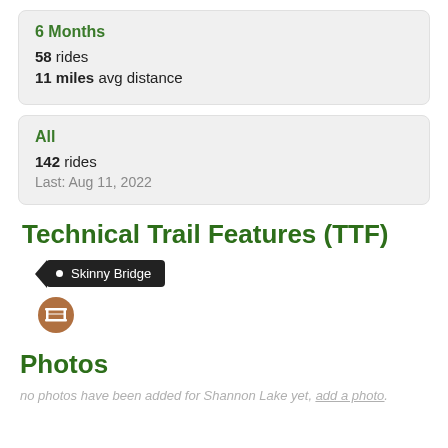6 Months
58 rides
11 miles avg distance
All
142 rides
Last: Aug 11, 2022
Technical Trail Features (TTF)
[Figure (infographic): A dark arrow/tag shape with bullet and text 'Skinny Bridge', and a brown circle icon below with a bridge symbol]
Photos
no photos have been added for Shannon Lake yet, add a photo.